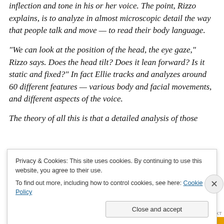inflection and tone in his or her voice. The point, Rizzo explains, is to analyze in almost microscopic detail the way that people talk and move — to read their body language.
“We can look at the position of the head, the eye gaze,” Rizzo says. Does the head tilt? Does it lean forward? Is it static and fixed?” In fact Ellie tracks and analyzes around 60 different features — various body and facial movements, and different aspects of the voice.
The theory of all this is that a detailed analysis of those
Privacy & Cookies: This site uses cookies. By continuing to use this website, you agree to their use.
To find out more, including how to control cookies, see here: Cookie Policy